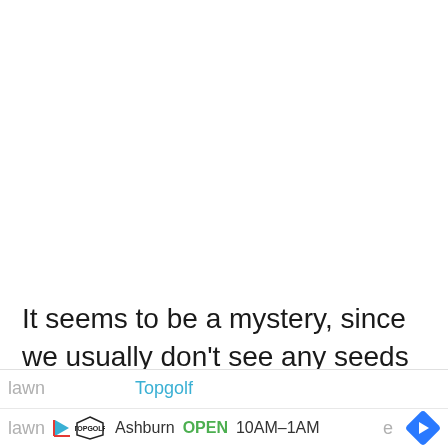It seems to be a mystery, since we usually don't see any seeds in our grass blades. That's because we regularly mow our lawn
[Figure (screenshot): Advertisement bar for Topgolf Ashburn showing logo, OPEN status, and hours 10AM-1AM with navigation arrow icon. Partially obscures bottom text about lawn.]